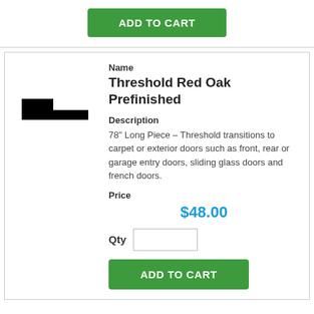[Figure (other): Green ADD TO CART button at top of page]
[Figure (illustration): Black silhouette of a threshold/transition molding piece showing an L-shaped profile]
Name
Threshold Red Oak Prefinished
Description
78" Long Piece – Threshold transitions to carpet or exterior doors such as front, rear or garage entry doors, sliding glass doors and french doors.
Price
$48.00
Qty
[Figure (other): Green ADD TO CART button at bottom of product card]